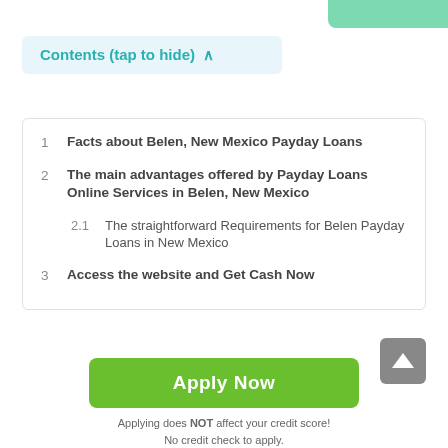Contents (tap to hide) ^
1   Facts about Belen, New Mexico Payday Loans
2   The main advantages offered by Payday Loans Online Services in Belen, New Mexico
2.1   The straightforward Requirements for Belen Payday Loans in New Mexico
3   Access the website and Get Cash Now
Apply Now
Applying does NOT affect your credit score!
No credit check to apply.